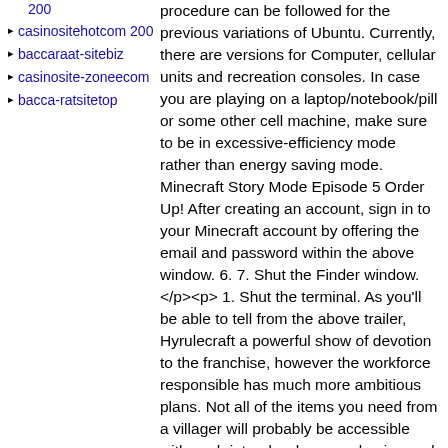200
casinositehotcom 200
baccaraat-sitebiz
casinosite-zoneecom
bacca-ratsitetop
procedure can be followed for the previous variations of Ubuntu. Currently, there are versions for Computer, cellular units and recreation consoles. In case you are playing on a laptop/notebook/pill or some other cell machine, make sure to be in excessive-efficiency mode rather than energy saving mode. Minecraft Story Mode Episode 5 Order Up! After creating an account, sign in to your Minecraft account by offering the email and password within the above window. 6. 7. Shut the Finder window. </p><p> 1. Shut the terminal. As you'll be able to tell from the above trailer, Hyrulecraft a powerful show of devotion to the franchise, however the workforce responsible has much more ambitious plans. Not all of the items you need from a villager will probably be accessible with each interplay, however buying and selling with the same villager multiple instances will earn you a great repute with that villager, who shall be more probably to offer reductions. On a public internet